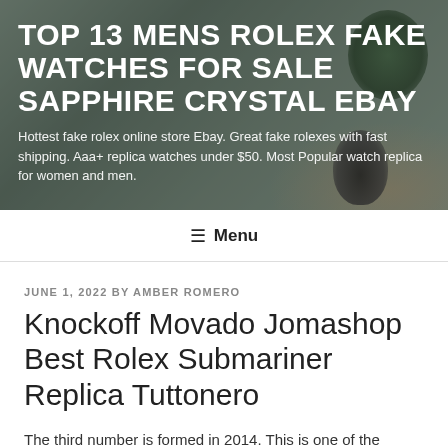[Figure (photo): Hero banner image showing a blurred indoor background with plants and a dark vase on a wooden table, overlaid with text]
TOP 13 MENS ROLEX FAKE WATCHES FOR SALE SAPPHIRE CRYSTAL EBAY
Hottest fake rolex online store Ebay. Great fake rolexes with fast shipping. Aaa+ replica watches under $50. Most Popular watch replica for women and men.
≡ Menu
JUNE 1, 2022 BY AMBER ROMERO
Knockoff Movado Jomashop Best Rolex Submariner Replica Tuttonero
The third number is formed in 2014. This is one of the